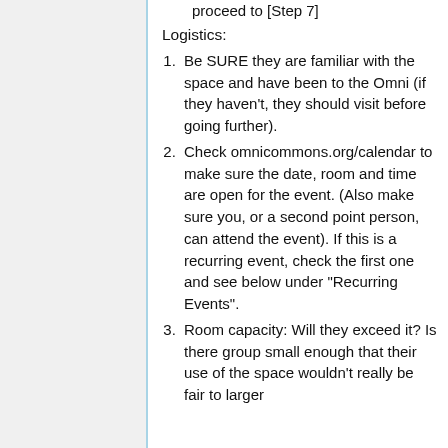proceed to [Step 7]
Logistics:
Be SURE they are familiar with the space and have been to the Omni (if they haven't, they should visit before going further).
Check omnicommons.org/calendar to make sure the date, room and time are open for the event. (Also make sure you, or a second point person, can attend the event). If this is a recurring event, check the first one and see below under "Recurring Events".
Room capacity: Will they exceed it? Is there group small enough that their use of the space wouldn't really be fair to larger